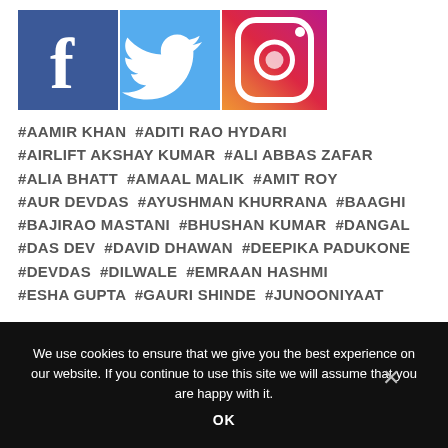[Figure (logo): Social media icons: Facebook (blue square with white f), Twitter (light blue square with white bird), Instagram (colorful camera icon)]
#AAMIR KHAN  #ADITI RAO HYDARI  #AIRLIFT AKSHAY KUMAR  #ALI ABBAS ZAFAR  #ALIA BHATT  #AMAAL MALIK  #AMIT ROY  #AUR DEVDAS  #AYUSHMAN KHURRANA  #BAAGHI  #BAJIRAO MASTANI  #BHUSHAN KUMAR  #DANGAL  #DAS DEV  #DAVID DHAWAN  #DEEPIKA PADUKONE  #DEVDAS  #DILWALE  #EMRAAN HASHMI  #ESHA GUPTA  #GAURI SHINDE  #JUNOONIYAAT
We use cookies to ensure that we give you the best experience on our website. If you continue to use this site we will assume that you are happy with it.
OK